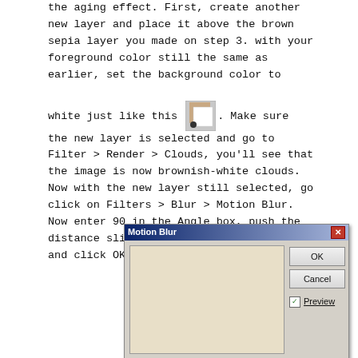the aging effect. First, create another new layer and place it above the brown sepia layer you made on step 3. with your foreground color still the same as earlier, set the background color to white just like this [image]. Make sure the new layer is selected and go to Filter > Render > Clouds, you'll see that the image is now brownish-white clouds. Now with the new layer still selected, go click on Filters > Blur > Motion Blur. Now enter 90 in the Angle box, push the distance slider all the way to the right, and click OK.
[Figure (screenshot): Motion Blur dialog box from an image editing application showing a preview pane with a beige/tan colored cloud texture, and buttons for OK, Cancel, and a Preview checkbox on the right side.]